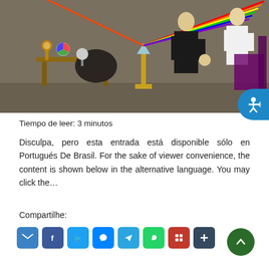[Figure (illustration): Historical illustration of Newton's light prism experiment showing a rainbow spectrum being refracted through a prism, with scientific instruments and two figures in period costume in a stone room.]
Tiempo de leer: 3 minutos
Disculpa, pero esta entrada está disponible sólo en Portugués De Brasil. For the sake of viewer convenience, the content is shown below in the alternative language. You may click the…
Compartilhe:
[Figure (infographic): Row of social sharing icon buttons: email (blue), Facebook (blue), Twitter (light blue), Messenger (blue), Telegram (blue), WhatsApp (green), unknown red icon, share (dark blue plus)]